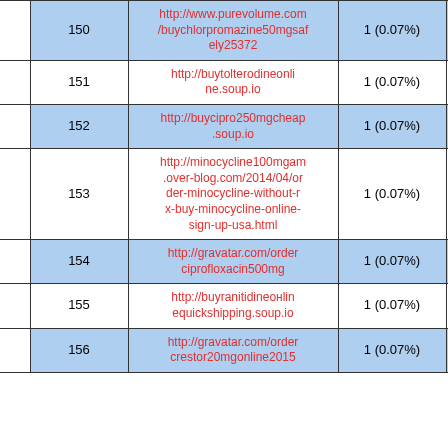|  | # | URL | Count | Action |
| --- | --- | --- | --- | --- |
|  | 150 | http://www.purevolume.com/buychlorpromazine50mgsafely25372 | 1 (0.07%) | Filter |
|  | 151 | http://buytolterodineonline.soup.io | 1 (0.07%) | Filter |
|  | 152 | http://buycipro250mgcheap.soup.io | 1 (0.07%) | Filter |
|  | 153 | http://minocycline100mgam.over-blog.com/2014/04/order-minocycline-without-rx-buy-minocycline-online-sign-up-usa.html | 1 (0.07%) | Filter |
|  | 154 | http://gravatar.com/orderciprofloxacin500mg | 1 (0.07%) | Filter |
|  | 155 | http://buyranitidineonlinequickshipping.soup.io | 1 (0.07%) | Filter |
|  | 156 | http://gravatar.com/ordercrestor20mgonline2015 | 1 (0.07%) | Filter |